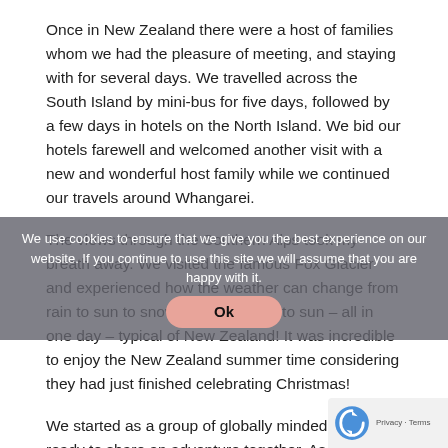Once in New Zealand there were a host of families whom we had the pleasure of meeting, and staying with for several days. We travelled across the South Island by mini-bus for five days, followed by a few days in hotels on the North Island. We bid our hotels farewell and welcomed another visit with a new and wonderful host family while we continued our travels around Whangarei.
The views through the Southern Alps took my breath away. We visited the famous Fox Glacier and experienced how the weather can change from rain to sun to snow and then back to sun – all in one day – typical of New Zealand! It was incredible to enjoy the New Zealand summer time considering they had just finished celebrating Christmas!
We started as a group of globally minded travellers ready to share an adventure together. As the days rolled by we were no longer a group but a circle of friends. We were
We use cookies to ensure that we give you the best experience on our website. If you continue to use this site we will assume that you are happy with it.